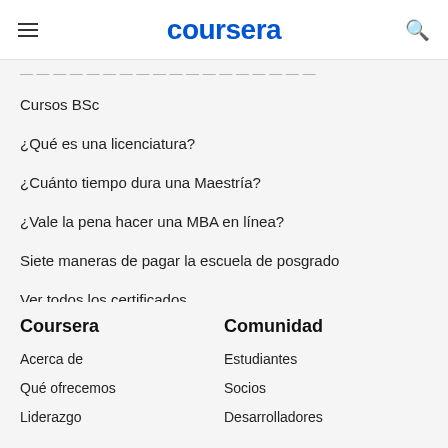coursera
Cursos BSc
¿Qué es una licenciatura?
¿Cuánto tiempo dura una Maestría?
¿Vale la pena hacer una MBA en línea?
Siete maneras de pagar la escuela de posgrado
Ver todos los certificados
Coursera
Comunidad
Acerca de
Estudiantes
Qué ofrecemos
Socios
Liderazgo
Desarrolladores